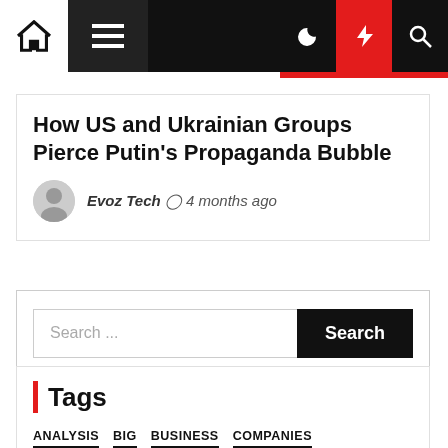Navigation bar with home icon, hamburger menu, moon icon, lightning bolt icon, search icon
How US and Ukrainian Groups Pierce Putin's Propaganda Bubble
Evoz Tech  4 months ago
Search ...
Tags
ANALYSIS
BIG
BUSINESS
COMPANIES
COMPUTER
COMPUTING
DATA
DEFINED